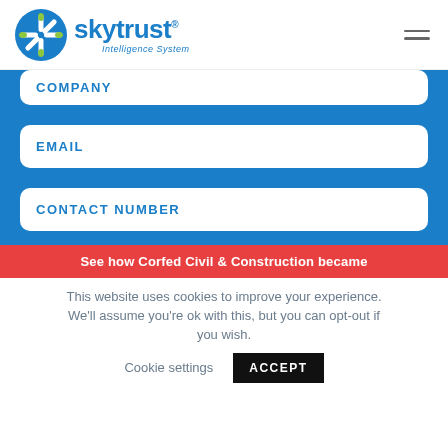Skytrust Intelligence System logo and navigation
COMPANY
EMAIL
CONTACT NUMBER
See how Corfed Civil & Construction became
This website uses cookies to improve your experience. We'll assume you're ok with this, but you can opt-out if you wish. Cookie settings ACCEPT